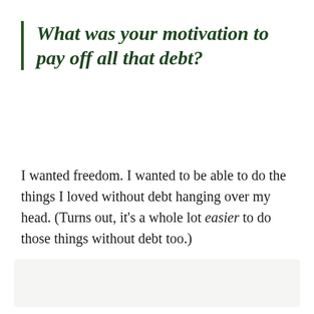What was your motivation to pay off all that debt?
I wanted freedom. I wanted to be able to do the things I loved without debt hanging over my head. (Turns out, it's a whole lot easier to do those things without debt too.)